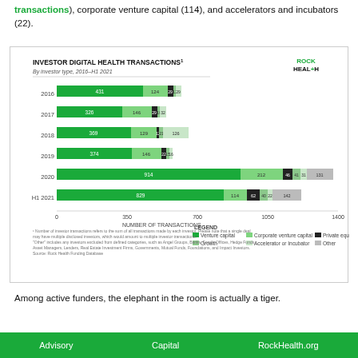transactions), corporate venture capital (114), and accelerators and incubators (22).
[Figure (stacked-bar-chart): INVESTOR DIGITAL HEALTH TRANSACTIONS¹]
Among active funders, the elephant in the room is actually a tiger.
Advisory    Capital    RockHealth.org